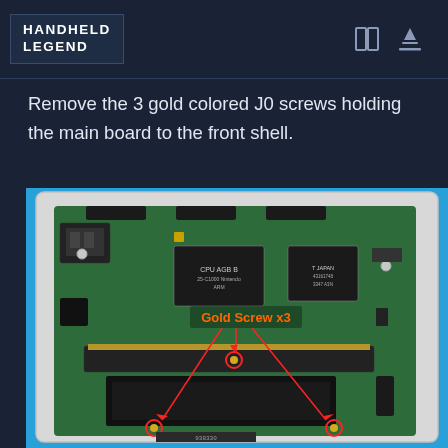HANDHELD LEGEND
Remove the 3 gold colored J0 screws holding the main board to the front shell.
[Figure (photo): Close-up photograph of a Game Boy Advance PCB (mainboard) with green circuit board visible. A red text label reads 'Gold Screw x3' with red arrows pointing to three gold-colored screws circled in red. The board shows 'CPU AGB B' chip and other components. The board sits in a white plastic front shell on a blue background.]